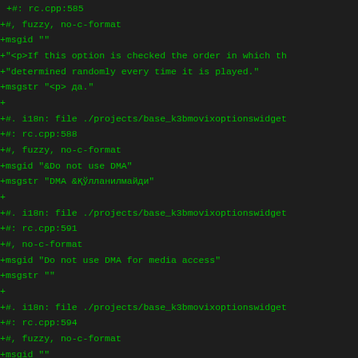+#: rc.cpp:585
+#, fuzzy, no-c-format
+msgid ""
+"<p>If this option is checked the order in which th
+"determined randomly every time it is played."
+msgstr "<p> да."
+
+#. i18n: file ./projects/base_k3bmovixoptionswidget
+#: rc.cpp:588
+#, fuzzy, no-c-format
+msgid "&Do not use DMA"
+msgstr "DMA &қўлланилмайди"
+
+#. i18n: file ./projects/base_k3bmovixoptionswidget
+#: rc.cpp:591
+#, no-c-format
+msgid "Do not use DMA for media access"
+msgstr ""
+
+#. i18n: file ./projects/base_k3bmovixoptionswidget
+#: rc.cpp:594
+#, fuzzy, no-c-format
+msgid ""
+"<p>If this option is checked the resulting eMovix
+"accessing the drive. This will slow down reading f
+"necessary on some systems that do not support DMA.
+msgstr "<p> DVD DVD</p>"
+
+#. i18n: file ./projects/base_k3bmovixoptionswidget
+#: rc.cpp:597